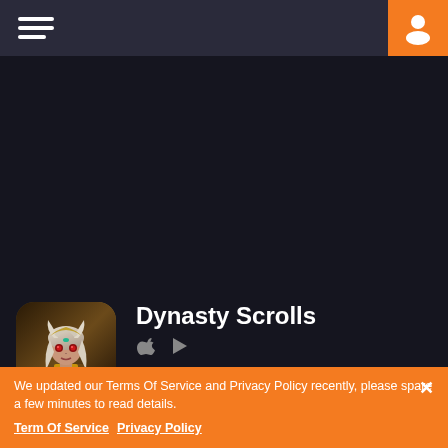Navigation bar with hamburger menu and user icon
[Figure (illustration): Game app icon for Dynasty Scrolls showing an anime-style character with white/silver hair, red eyes, wearing ornate golden armor, with the Gtarcade logo watermark in the bottom-right corner]
Dynasty Scrolls
Break history and wreck the meta! Asia's beloved RPG released in English with a new tutorial & jacked up rewards to gently guid...
We updated our Terms Of Service and Privacy Policy recently, please spare a few minutes to read details. Term Of Service Privacy Policy